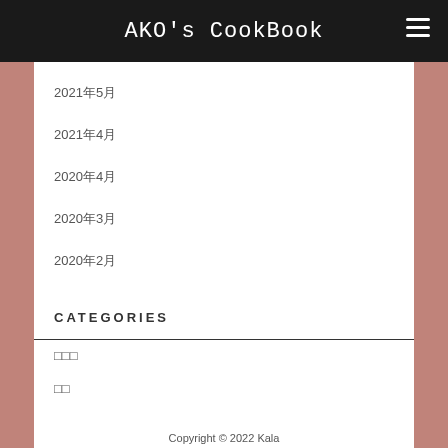AKO's CookBook
2021年5月
2021年4月
2020年4月
2020年3月
2020年2月
CATEGORIES
□□□
□□
Copyright © 2022 Kala